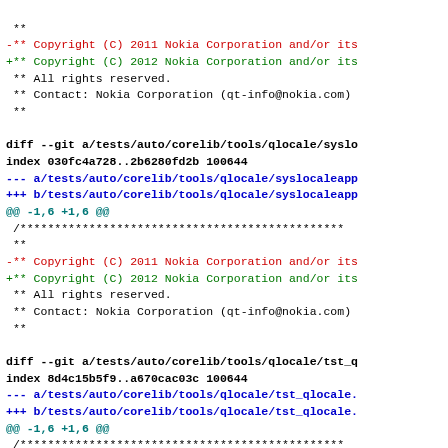**
-** Copyright (C) 2011 Nokia Corporation and/or its
+** Copyright (C) 2012 Nokia Corporation and/or its
 ** All rights reserved.
 ** Contact: Nokia Corporation (qt-info@nokia.com)
 **

diff --git a/tests/auto/corelib/tools/qlocale/syslo
index 030fc4a728..2b6280fd2b 100644
--- a/tests/auto/corelib/tools/qlocale/syslocaleapp
+++ b/tests/auto/corelib/tools/qlocale/syslocaleapp
@@ -1,6 +1,6 @@
 /***********************************************
 **
-** Copyright (C) 2011 Nokia Corporation and/or its
+** Copyright (C) 2012 Nokia Corporation and/or its
 ** All rights reserved.
 ** Contact: Nokia Corporation (qt-info@nokia.com)
 **

diff --git a/tests/auto/corelib/tools/qlocale/tst_q
index 8d4c15b5f9..a670cac03c 100644
--- a/tests/auto/corelib/tools/qlocale/tst_qlocale.
+++ b/tests/auto/corelib/tools/qlocale/tst_qlocale.
@@ -1,6 +1,6 @@
 /***********************************************
 **
-** Copyright (C) 2011 Nokia Corporation and/or its
+** Copyright (C) 2012 Nokia Corporation and/or its
 ** All rights reserved.
 ** Contact: Nokia Corporation (qt-info@nokia.com)